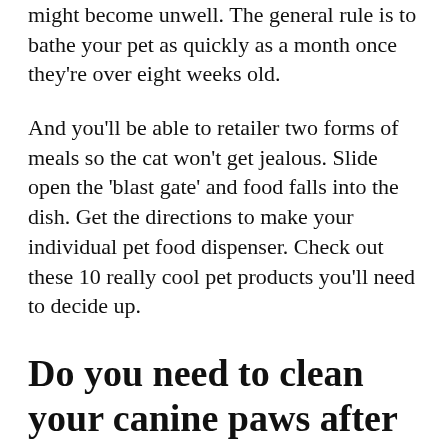might become unwell. The general rule is to bathe your pet as quickly as a month once they're over eight weeks old.
And you'll be able to retailer two forms of meals so the cat won't get jealous. Slide open the 'blast gate' and food falls into the dish. Get the directions to make your individual pet food dispenser. Check out these 10 really cool pet products you'll need to decide up.
Do you need to clean your canine paws after walk?
Whether it is wet, snowy, or dusty